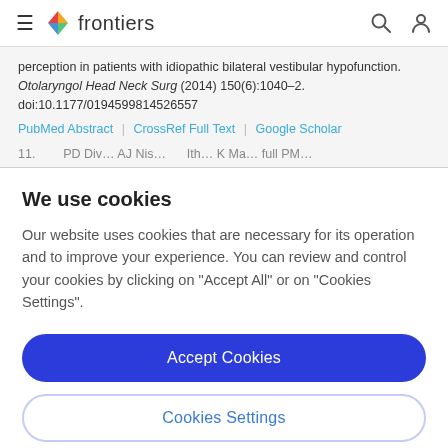frontiers
perception in patients with idiopathic bilateral vestibular hypofunction. Otolaryngol Head Neck Surg (2014) 150(6):1040–2. doi:10.1177/0194599814526557
PubMed Abstract | CrossRef Full Text | Google Scholar
11. ...
We use cookies
Our website uses cookies that are necessary for its operation and to improve your experience. You can review and control your cookies by clicking on "Accept All" or on "Cookies Settings".
Accept Cookies
Cookies Settings